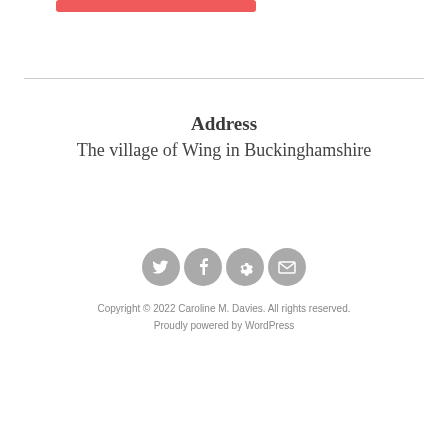[Figure (other): Red rounded rectangle button/bar at top left]
Address
The village of Wing in Buckinghamshire
[Figure (other): Four circular social media icons in gray: Twitter, Facebook, Settings/gear, Email]
Copyright © 2022 Caroline M. Davies. All rights reserved.
Proudly powered by WordPress